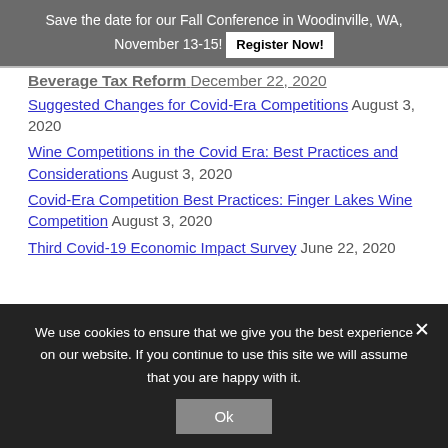Save the date for our Fall Conference in Woodinville, WA, November 13-15! Register Now!
Beverage Tax Reform December 22, 2020
Suggested Changes for Covid-Era Competitions August 3, 2020
Wine Competitions in the Covid Era: Best Practices and Considerations August 3, 2020
Covid-Era Competition Best Practices: Finger Lakes Wine Competition August 3, 2020
Third Covid-19 Economic Impact Survey June 22, 2020
We use cookies to ensure that we give you the best experience on our website. If you continue to use this site we will assume that you are happy with it.